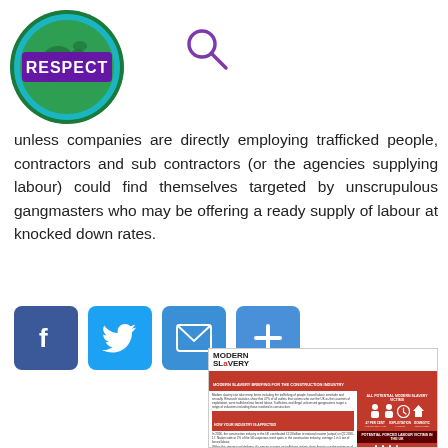[Figure (logo): RESPECT logo — circular green globe design with RESPECT stamp text in purple]
[Figure (illustration): Magnifying glass / search icon in purple outline]
unless companies are directly employing trafficked people, contractors and sub contractors (or the agencies supplying labour) could find themselves targeted by unscrupulous gangmasters who may be offering a ready supply of labour at knocked down rates.
[Figure (illustration): Social media sharing buttons: Facebook (f), Twitter (bird), Email (envelope), More (+)]
[Figure (infographic): Modern Slavery briefing infographic thumbnail for the construction industry, showing red-themed layout with icons and text about modern slavery victims]